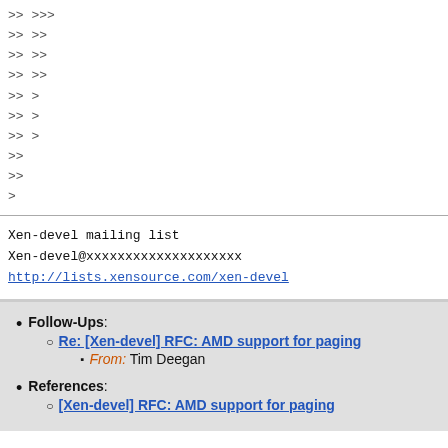>> >>>
>> >>
>> >>
>> >>
>> >
>> >
>> >
>>
>>
>
Xen-devel mailing list
Xen-devel@xxxxxxxxxxxxxxxxxxxx
http://lists.xensource.com/xen-devel
Follow-Ups: Re: [Xen-devel] RFC: AMD support for paging — From: Tim Deegan
References: [Xen-devel] RFC: AMD support for paging